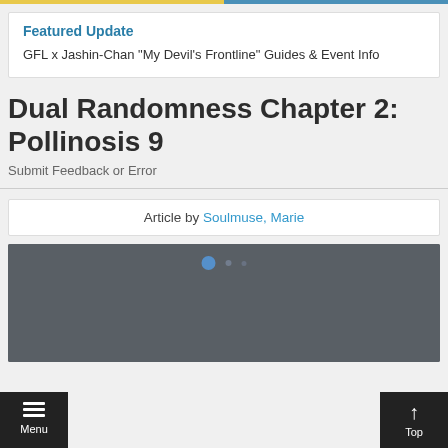Featured Update
GFL x Jashin-Chan "My Devil's Frontline" Guides & Event Info
Dual Randomness Chapter 2: Pollinosis 9
Submit Feedback or Error
Article by Soulmuse, Marie
[Figure (screenshot): Dark screenshot of a game interface with dark grey background, blue glowing icon visible at top center, and small UI elements.]